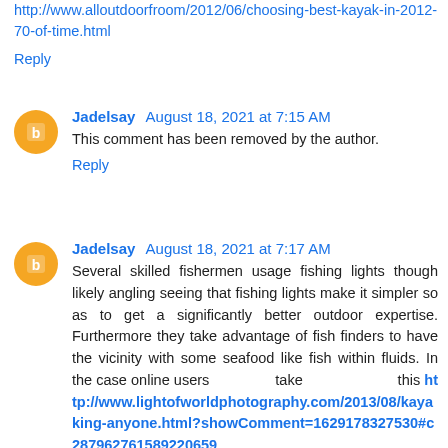http://www.alloutdoorfroom/2012/06/choosing-best-kayak-in-2012-70-of-time.html
Reply
Jadelsay August 18, 2021 at 7:15 AM
This comment has been removed by the author.
Reply
Jadelsay August 18, 2021 at 7:17 AM
Several skilled fishermen usage fishing lights though likely angling seeing that fishing lights make it simpler so as to get a significantly better outdoor expertise. Furthermore they take advantage of fish finders to have the vicinity with some seafood like fish within fluids. In the case online users take this http://www.lightofworldphotography.com/2013/08/kayaking-anyone.html?showComment=1629178327530#c287962761589220659 2 webpage, many become more more knowledge about